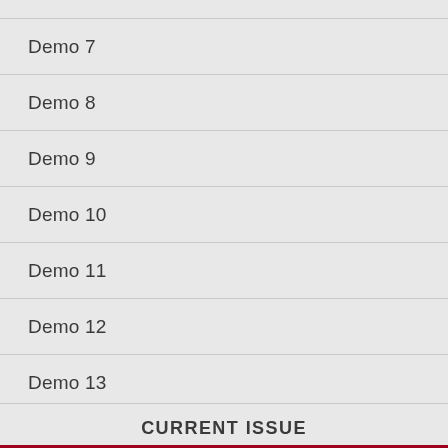Demo 7
Demo 8
Demo 9
Demo 10
Demo 11
Demo 12
Demo 13
CURRENT ISSUE